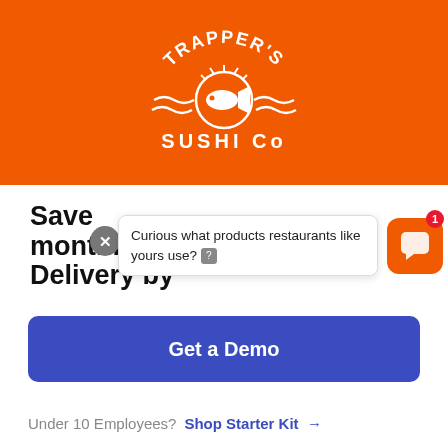[Figure (logo): Trapper's Sushi Co logo on orange background — white text arc reading TRAPPER'S above a fish/sushi graphic with wave lines, and SUSHI CO below]
Save monthly on Third Party Delivery by
[Figure (screenshot): Popup bubble with X close button, text: Curious what products restaurants like yours use? and a help icon]
Get a Demo
Under 10 Employees?  Shop Starter Kit →